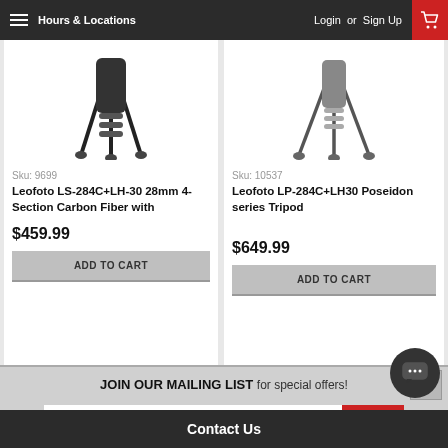Hours & Locations   Login or Sign Up
Sku: 9699
Leofoto LS-284C+LH-30 28mm 4-Section Carbon Fiber with
$459.99
ADD TO CART
Sku: 10537
Leofoto LP-284C+LH30 Poseidon series Tripod
$649.99
ADD TO CART
JOIN OUR MAILING LIST for special offers!
Email
JOIN
Contact Us